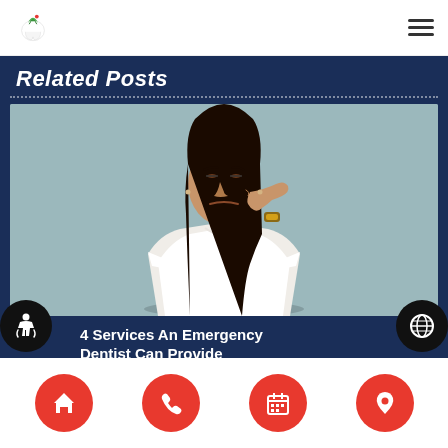Ashley Smile Clinic — navigation bar with logo and hamburger menu
Related Posts
[Figure (photo): Woman with long dark hair wearing a white t-shirt, wincing and touching her cheek, suggesting tooth pain. Background is muted teal/gray.]
4 Services An Emergency Dentist Can Provide
Bottom navigation bar with home, phone, calendar, and location icons